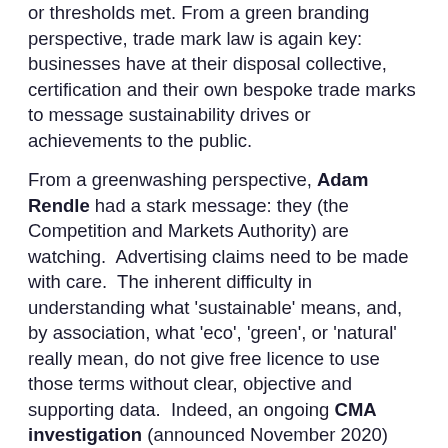or thresholds met. From a green branding perspective, trade mark law is again key: businesses have at their disposal collective, certification and their own bespoke trade marks to message sustainability drives or achievements to the public.
From a greenwashing perspective, Adam Rendle had a stark message: they (the Competition and Markets Authority) are watching. Advertising claims need to be made with care. The inherent difficulty in understanding what 'sustainable' means, and, by association, what 'eco', 'green', or 'natural' really mean, do not give free licence to use those terms without clear, objective and supporting data. Indeed, an ongoing CMA investigation (announced November 2020) has pinned down three main potential problems relating to sustainability-focussed advertising: (i) the claims are vague and unclear, and difficult to substantiate for that very reason; (ii) own-brand trade marks or descriptors (fashion lines labelled as "[BRAND] ECO" or "CONSCIOUS [BRAND]") give the probably incorrect